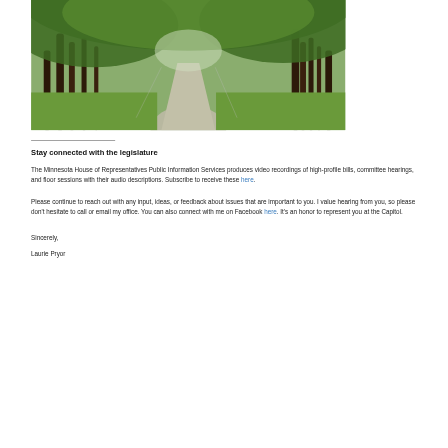[Figure (photo): A tree-lined path or road with lush green foliage overhead, sunlight filtering through the canopy, with grass along the sides.]
Stay connected with the legislature
The Minnesota House of Representatives Public Information Services produces video recordings of high-profile bills, committee hearings, and floor sessions with their audio descriptions. Subscribe to receive these here.
Please continue to reach out with any input, ideas, or feedback about issues that are important to you. I value hearing from you, so please don't hesitate to call or email my office. You can also connect with me on Facebook here. It's an honor to represent you at the Capitol.
Sincerely,
Laurie Pryor